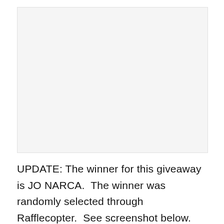[Figure (other): Blank light gray rectangular image placeholder area]
UPDATE: The winner for this giveaway is JO NARCA.  The winner was randomly selected through Rafflecopter.  See screenshot below.